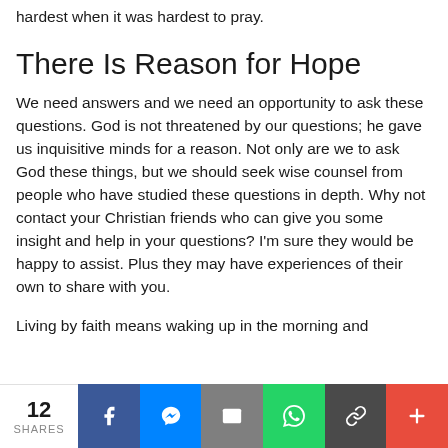hardest when it was hardest to pray.
There Is Reason for Hope
We need answers and we need an opportunity to ask these questions. God is not threatened by our questions; he gave us inquisitive minds for a reason. Not only are we to ask God these things, but we should seek wise counsel from people who have studied these questions in depth. Why not contact your Christian friends who can give you some insight and help in your questions? I'm sure they would be happy to assist. Plus they may have experiences of their own to share with you.
Living by faith means waking up in the morning and
12 SHARES | Facebook | Messenger | Email | WhatsApp | Link | More